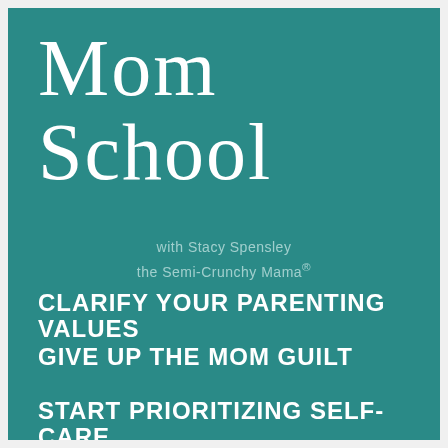Mom School
with Stacy Spensley
the Semi-Crunchy Mama®
CLARIFY YOUR PARENTING VALUES
GIVE UP THE MOM GUILT
START PRIORITIZING SELF-CARE